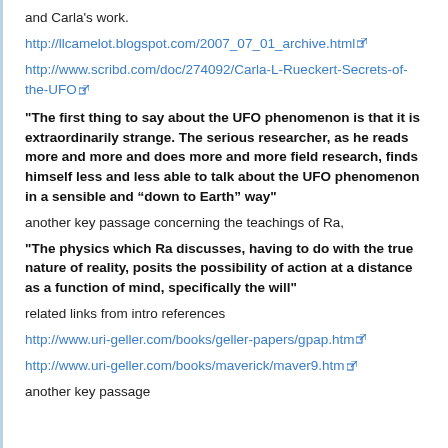and Carla's work.
http://llcamelot.blogspot.com/2007_07_01_archive.html
http://www.scribd.com/doc/274092/Carla-L-Rueckert-Secrets-of-the-UFO
"The first thing to say about the UFO phenomenon is that it is extraordinarily strange. The serious researcher, as he reads more and more and does more and more field research, finds himself less and less able to talk about the UFO phenomenon in a sensible and “down to Earth” way"
another key passage concerning the teachings of Ra,
"The physics which Ra discusses, having to do with the true nature of reality, posits the possibility of action at a distance as a function of mind, specifically the will"
related links from intro references
http://www.uri-geller.com/books/geller-papers/gpap.htm
http://www.uri-geller.com/books/maverick/maver9.htm
another key passage